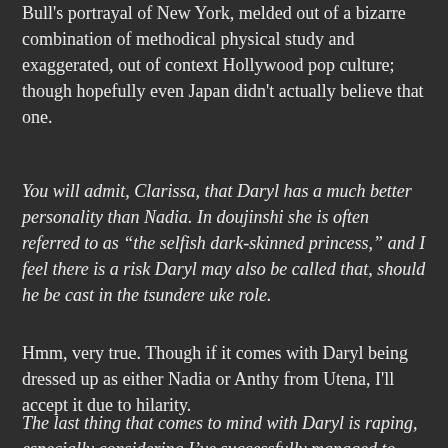Bull's portrayal of New York, melded out of a bizarre combination of methodical physical study and exaggerated, out of context Hollywood pop culture; though hopefully even Japan didn't actually believe that one.
You will admit, Clarissa, that Daryl has a much better personality than Nadia. In doujinshi she is often referred to as “the selfish dark-skinned princess,” and I feel there is a risk Daryl may also be called that, should he be cast in the tsundere uke role.
Hmm, very true. Though if it comes with Daryl being dressed up as either Nadia or Anthy from Utena, I'll accept it due to hilarity.
The last thing that comes to mind with Daryl is raping, especially considering I’ve successfully managed to magically transport the feeling of